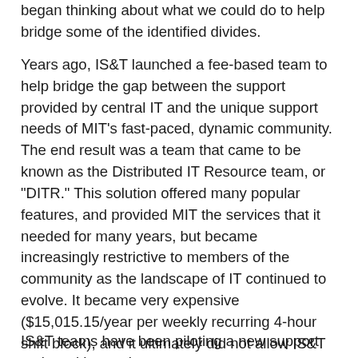began thinking about what we could do to help bridge some of the identified divides.
Years ago, IS&T launched a fee-based team to help bridge the gap between the support provided by central IT and the unique support needs of MIT's fast-paced, dynamic community. The end result was a team that came to be known as the Distributed IT Resource team, or "DITR." This solution offered many popular features, and provided MIT the services that it needed for many years, but became increasingly restrictive to members of the community as the landscape of IT continued to evolve. It became very expensive ($15,015.15/year per weekly recurring 4-hour shift block), and it ultimately did not allow IS&T the flexibility that it needed to move fluidly between fulfilling support requests and project work focused around implementing new IT services. MIT needs a service model that allows IS&T to do both (and do both well) at a price that is affordable for the community.
IS&T teams have been piloting a new support option with members